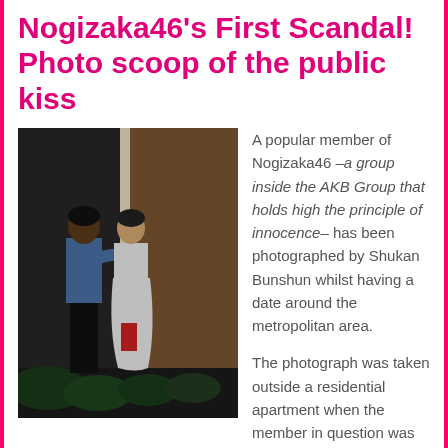Nogizaka46's First Scandal! Photo scoop of the public kiss
[Figure (photo): Nighttime outdoor photo of two people embracing/kissing outside a residential apartment building, with bushes in the foreground. One person wears a blue shirt and dark pants, the other wears a white dress.]
A popular member of Nogizaka46 –a group inside the AKB Group that holds high the principle of innocence– has been photographed by Shukan Bunshun whilst having a date around the metropolitan area.
The photograph was taken outside a residential apartment when the member in question was repeatedly hugging and kissing her companion without any